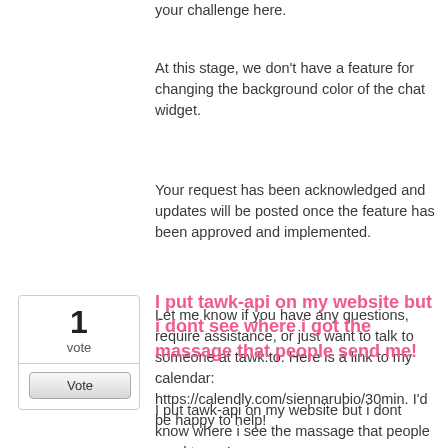your challenge here.
At this stage, we don't have a feature for changing the background color of the chat widget.
Your request has been acknowledged and updates will be posted once the feature has been approved and implemented.
Let me know if you have any questions, require assistance, or just want to talk to someone at tawk.to. Here is a link to my calendar: https://calendly.com/siennarubio/30min. I'd be happy to help!
I put tawk-api on my website but i dont see where i got the massage that people send me!
I put tawk-api on my website but i dont know where i see the massage that people send to me!